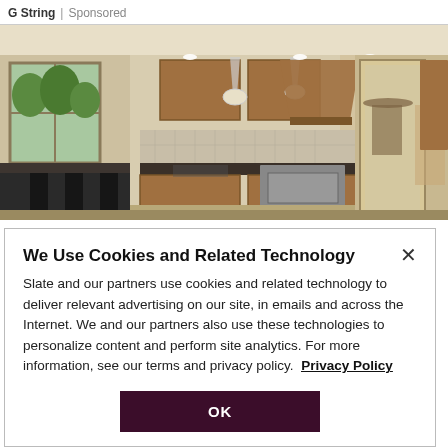G String | Sponsored
[Figure (photo): Interior photo of a kitchen with wooden cabinets, granite countertops, pendant lights, stainless steel appliances, and a view into a dining area.]
We Use Cookies and Related Technology
Slate and our partners use cookies and related technology to deliver relevant advertising on our site, in emails and across the Internet. We and our partners also use these technologies to personalize content and perform site analytics. For more information, see our terms and privacy policy. Privacy Policy
OK